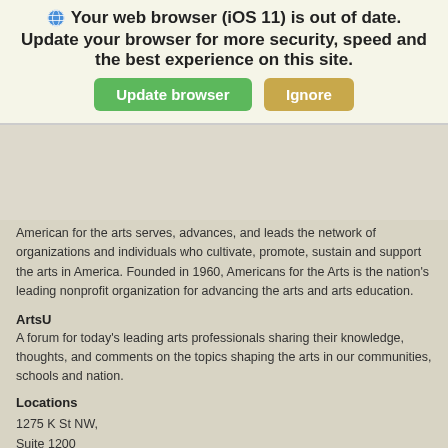[Figure (screenshot): Browser update notification banner with globe icon, bold text 'Your web browser (iOS 11) is out of date. Update your browser for more security, speed and the best experience on this site.' with green 'Update browser' button and tan 'Ignore' button.]
American for the arts serves, advances, and leads the network of organizations and individuals who cultivate, promote, sustain and support the arts in America. Founded in 1960, Americans for the Arts is the nation's leading nonprofit organization for advancing the arts and arts education.
ArtsU
A forum for today's leading arts professionals sharing their knowledge, thoughts, and comments on the topics shaping the arts in our communities, schools and nation.
Locations
1275 K St NW,
Suite 1200
Washington, DC 20005
T 202.371.2830
F 202.371.0424
© 2022
Americans for the Arts